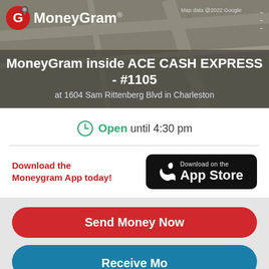[Figure (screenshot): Map background showing street map with MoneyGram logo overlay, hamburger menu, and 'Map data @2022 Google' text]
MoneyGram inside ACE CASH EXPRESS - #1105
at 1604 Sam Rittenberg Blvd in Charleston
Open until 4:30 pm
Download the Moneygram App today!
[Figure (logo): Download on the App Store badge (Apple)]
Send Money Now
Receive Mo...